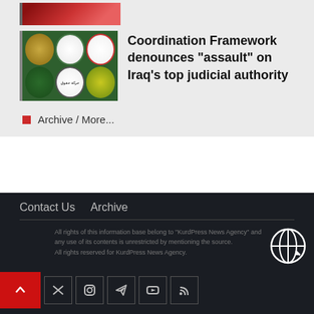[Figure (photo): Partial view of a photo with red/colorful flags or banners at the top]
[Figure (photo): Grid of six circular political party/organization logos on green background, with a dark left border]
Coordination Framework denounces “assault” on Iraq’s top judicial authority
Archive / More...
Contact Us   Archive
All rights of this information base belong to "KurdPress News Agency" and any use of its contents is unrestricted by mentioning the source. All rights reserved for KurdPress News Agency.
[Figure (logo): Globe with arrow icon in white on dark background]